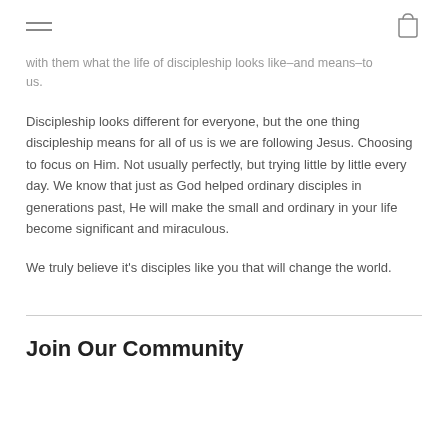[hamburger menu icon] [shopping bag icon]
with them what the life of discipleship looks like–and means–to us.
Discipleship looks different for everyone, but the one thing discipleship means for all of us is we are following Jesus. Choosing to focus on Him. Not usually perfectly, but trying little by little every day. We know that just as God helped ordinary disciples in generations past, He will make the small and ordinary in your life become significant and miraculous.
We truly believe it's disciples like you that will change the world.
Join Our Community